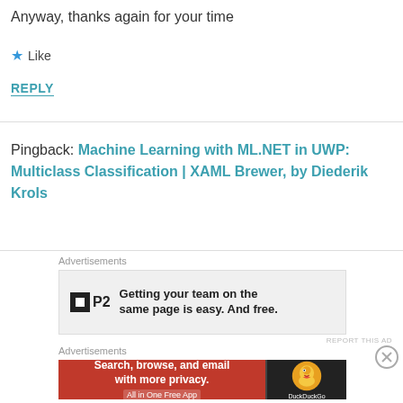Anyway, thanks again for your time
★ Like
REPLY
Pingback: Machine Learning with ML.NET in UWP: Multiclass Classification | XAML Brewer, by Diederik Krols
Advertisements
[Figure (other): P2 advertisement banner: Getting your team on the same page is easy. And free.]
REPORT THIS AD
Advertisements
[Figure (other): DuckDuckGo advertisement: Search, browse, and email with more privacy. All in One Free App]